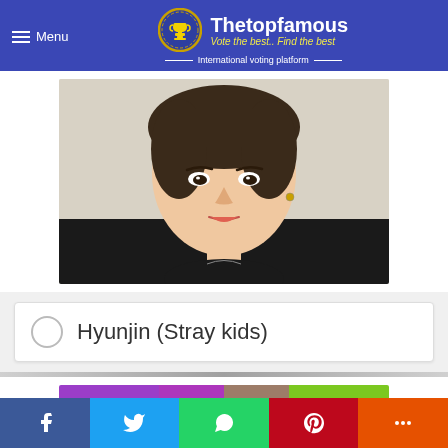Thetopfamous — Vote the best, Find the best — International voting platform
[Figure (photo): Close-up photo of Hyunjin from Stray Kids, a young Korean male with dark brown hair and an earring, wearing a black outfit, slightly parted lips, against a light background]
Hyunjin (Stray kids)
[Figure (photo): Partial photo of another person with dark hair against a colorful purple and green background, partially visible at bottom of page]
Social share buttons: Facebook, Twitter, WhatsApp, Pinterest, More